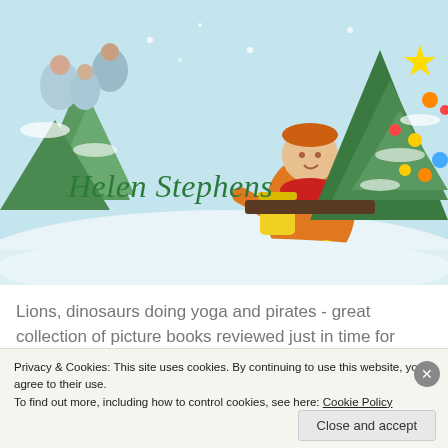[Figure (illustration): Children's book illustration with snowy winter scene, a child in orange jacket and yellow boots kneeling near a decorated Christmas tree, with 'Helen Stephens' written in green cursive text]
Lions, dinosaurs doing yoga and pirates - great collection of picture books reviewed just in time for Christmas.
Share this:
Share
Privacy & Cookies: This site uses cookies. By continuing to use this website, you agree to their use.
To find out more, including how to control cookies, see here: Cookie Policy
Close and accept